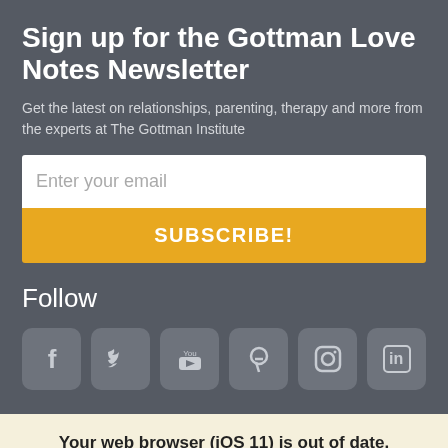Sign up for the Gottman Love Notes Newsletter
Get the latest on relationships, parenting, therapy and more from the experts at The Gottman Institute
Enter your email
SUBSCRIBE!
Follow
[Figure (illustration): Row of six social media icons: Facebook, Twitter, YouTube, Pinterest, Instagram, LinkedIn]
Your web browser (iOS 11) is out of date. Update your browser for more security, speed and the best experience on this site.
Update browser
Ignore